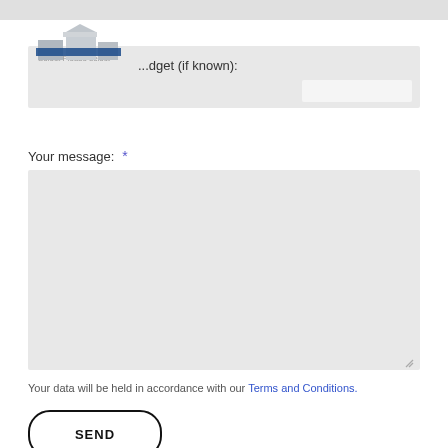[Figure (logo): Company logo with blue and white building/architectural design]
...dget (if known):
Your message: *
Your data will be held in accordance with our Terms and Conditions.
SEND